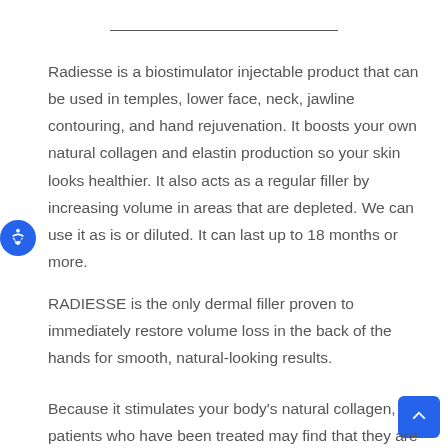Radiesse is a biostimulator injectable product that can be used in temples, lower face, neck, jawline contouring, and hand rejuvenation. It boosts your own natural collagen and elastin production so your skin looks healthier. It also acts as a regular filler by increasing volume in areas that are depleted. We can use it as is or diluted. It can last up to 18 months or more.
RADIESSE is the only dermal filler proven to immediately restore volume loss in the back of the hands for smooth, natural-looking results.
Because it stimulates your body's natural collagen, patients who have been treated may find that they are